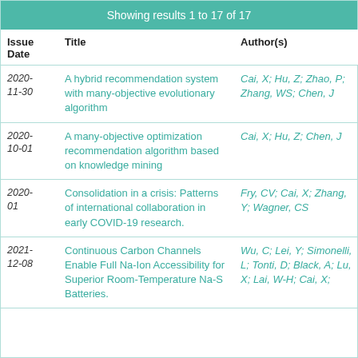Showing results 1 to 17 of 17
| Issue Date | Title | Author(s) |
| --- | --- | --- |
| 2020-11-30 | A hybrid recommendation system with many-objective evolutionary algorithm | Cai, X; Hu, Z; Zhao, P; Zhang, WS; Chen, J |
| 2020-10-01 | A many-objective optimization recommendation algorithm based on knowledge mining | Cai, X; Hu, Z; Chen, J |
| 2020-01 | Consolidation in a crisis: Patterns of international collaboration in early COVID-19 research. | Fry, CV; Cai, X; Zhang, Y; Wagner, CS |
| 2021-12-08 | Continuous Carbon Channels Enable Full Na-Ion Accessibility for Superior Room-Temperature Na-S Batteries. | Wu, C; Lei, Y; Simonelli, L; Tonti, D; Black, A; Lu, X; Lai, W-H; Cai, X; |